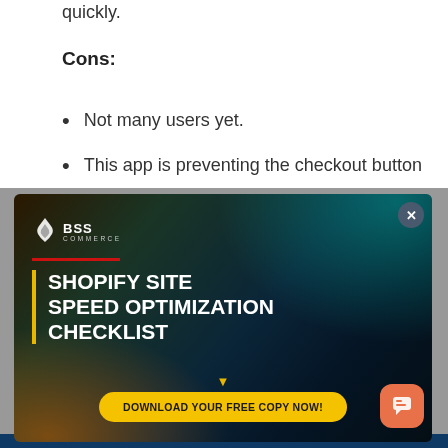quickly.
Cons:
Not many users yet.
This app is preventing the checkout button
[Figure (photo): BSS Commerce popup advertisement: 'SHOPIFY SITE SPEED OPTIMIZATION CHECKLIST' with a dark background showing a blurred car, BSS Commerce logo, a yellow 'DOWNLOAD YOUR FREE COPY NOW!' button, a close X button, and an orange chat button.]